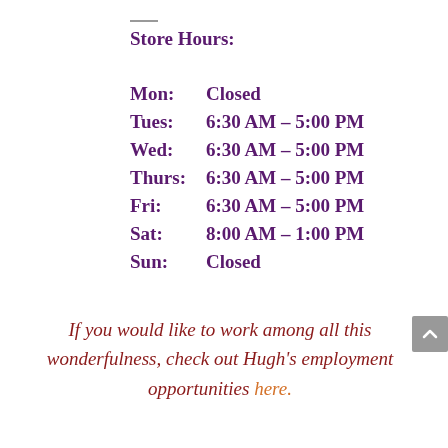Store Hours:
| Mon: | Closed |
| Tues: | 6:30 AM – 5:00 PM |
| Wed: | 6:30 AM – 5:00 PM |
| Thurs: | 6:30 AM – 5:00 PM |
| Fri: | 6:30 AM – 5:00 PM |
| Sat: | 8:00 AM – 1:00 PM |
| Sun: | Closed |
If you would like to work among all this wonderfulness, check out Hugh's employment opportunities here.